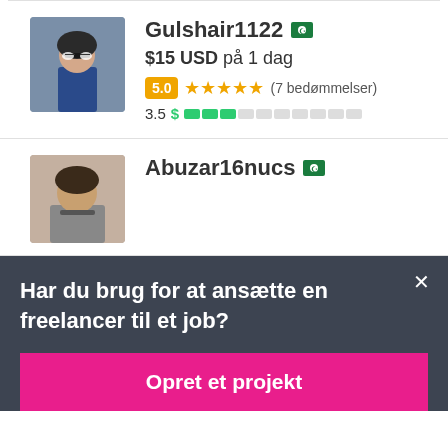[Figure (photo): Profile photo of Gulshair1122, a man in a blue shirt with glasses]
Gulshair1122
$15 USD på 1 dag
5.0 ★★★★★ (7 bedømmelser)
3.5 $ ■■■□□□□□□□
[Figure (photo): Profile photo of Abuzar16nucs]
Abuzar16nucs
Har du brug for at ansætte en freelancer til et job?
Opret et projekt